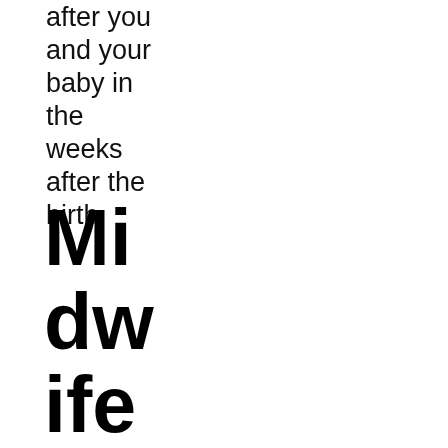after you and your baby in the weeks after the birth.
Midwife in